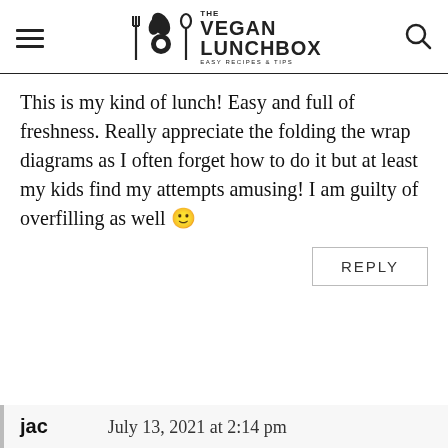THE VEGAN LUNCHBOX - EASY RECIPES & TIPS
This is my kind of lunch! Easy and full of freshness. Really appreciate the folding the wrap diagrams as I often forget how to do it but at least my kids find my attempts amusing! I am guilty of overfilling as well 🙂
REPLY
jac   July 13, 2021 at 2:14 pm